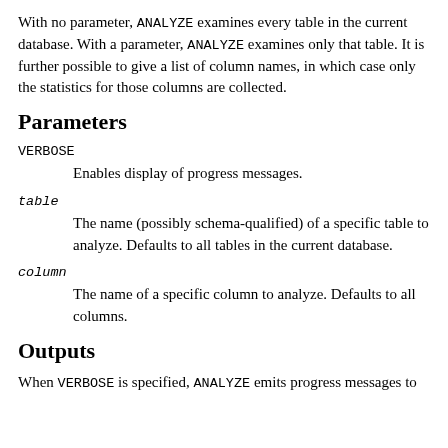With no parameter, ANALYZE examines every table in the current database. With a parameter, ANALYZE examines only that table. It is further possible to give a list of column names, in which case only the statistics for those columns are collected.
Parameters
VERBOSE
Enables display of progress messages.
table
The name (possibly schema-qualified) of a specific table to analyze. Defaults to all tables in the current database.
column
The name of a specific column to analyze. Defaults to all columns.
Outputs
When VERBOSE is specified, ANALYZE emits progress messages to